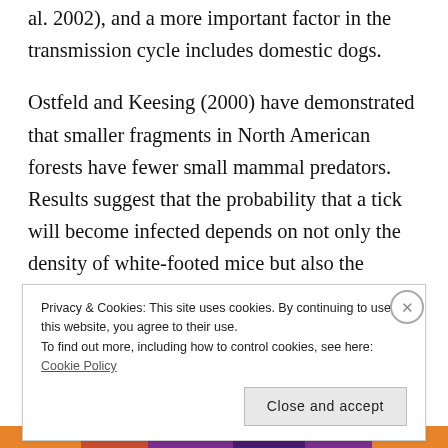al. 2002), and a more important factor in the transmission cycle includes domestic dogs.
Ostfeld and Keesing (2000) have demonstrated that smaller fragments in North American forests have fewer small mammal predators. Results suggest that the probability that a tick will become infected depends on not only the density of white-footed mice but also the density of mice relative to that of other hosts in the
Privacy & Cookies: This site uses cookies. By continuing to use this website, you agree to their use.
To find out more, including how to control cookies, see here: Cookie Policy